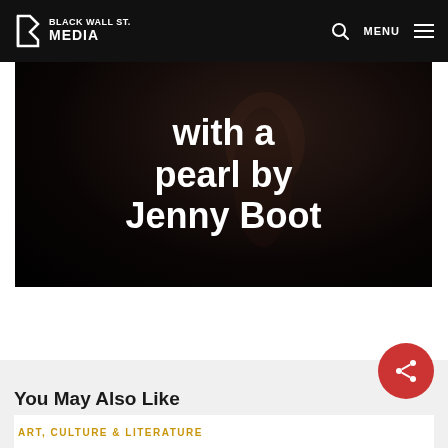BLACK WALL ST. MEDIA
[Figure (photo): Dark portrait photo with white text overlay reading 'with a pearl by Jenny Boot']
with a pearl by Jenny Boot
You May Also Like
ART, CULTURE & LITERATURE